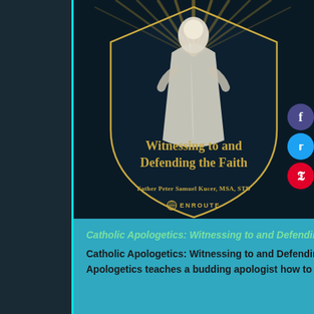[Figure (photo): Book cover of 'Witnessing to and Defending the Faith' by Father Peter Samuel Kucer, MSA, STD. Dark teal/navy background with a shield shape, rays of golden light, and a white robed figure. Title in gold serif font, author name below, and ENROUTE publisher logo at bottom.]
Catholic Apologetics: Witnessing to and Defending the Faith
Catholic Apologetics: Witnessing to and Defending the Faith by Fr. Peter Samuel Kucer, MSA Catholic Apologetics teaches a budding apologist how to effectively witness to and